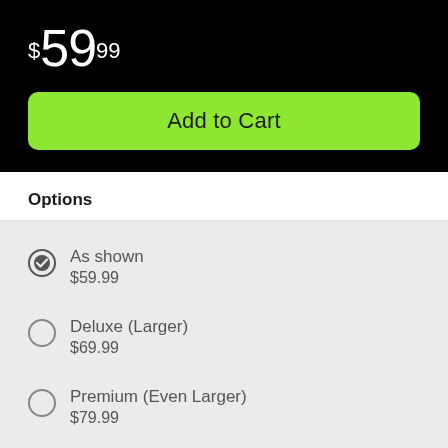$59.99
Add to Cart
Options
As shown
$59.99
Deluxe (Larger)
$69.99
Premium (Even Larger)
$79.99
The Birthday Cheer Bouquet  is set to celebrate with its bright,